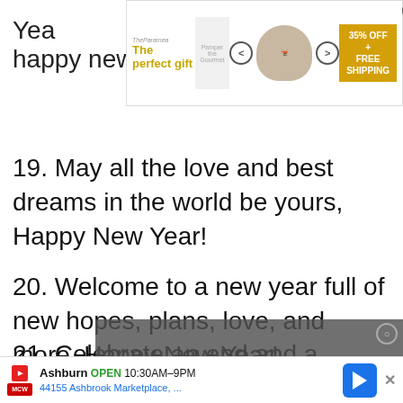Yea... a happy new year!
[Figure (screenshot): Advertisement banner: 'The perfect gift' with product image, nav arrows, and '35% OFF + FREE SHIPPING' offer. Close button (X) in top right.]
19. May all the love and best dreams in the world be yours, Happy New Year!
20. Welcome to a new year full of new hopes, plans, love, and more. Happy New Year!
[Figure (screenshot): Video player overlay with message: 'No compatible source was found for this media.']
21. Celebrate an end and a beginning new year. Wish you a happy new year!
[Figure (screenshot): Bottom ad: Ashburn OPEN 10:30AM-9PM, 44155 Ashbrook Marketplace, ... with MCW logo and navigation arrow.]